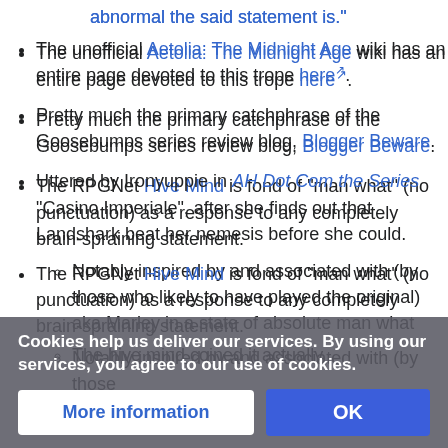abnormal the said statement is."
The unofficial Aetolia: The Midnight Age wiki has an entire page devoted to this trope here.
Pretty much the primary catchphrase of the Goosebumps series review blog, Blogger Beware.
Uttered by Ironyuppie in AH Dot Com the Series "Casino Imperiale", after she finds out that Landshark beat her nemesis before she could.
The RPGNet Hive Mind is fond of "man what" (no punctuation) as a response to any completely brain-spraining statement.
Notably inspired by and associated with (by those who likely to have played the original) aka Marley in a state of absolute man what
The hive mind coined it actually
Cookies help us deliver our services. By using our services, you agree to our use of cookies.
More information
OK